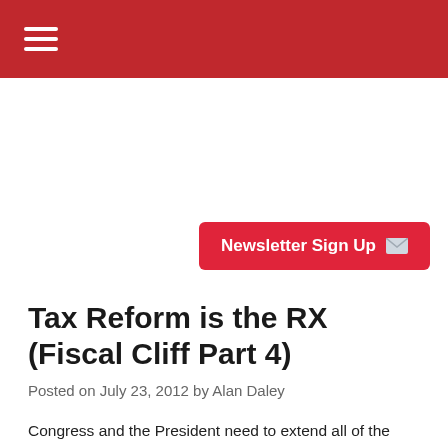[Figure (other): Newsletter Sign Up button with envelope icon]
Tax Reform is the RX (Fiscal Cliff Part 4)
Posted on July 23, 2012 by Alan Daley
Congress and the President need to extend all of the prior